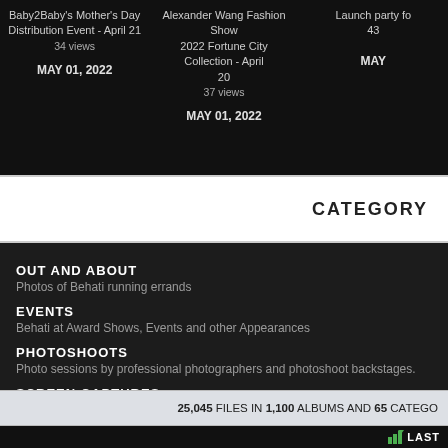Baby2Baby's Mother's Day Distribution Event - April 21 34 views MAY 01, 2022
Alexander Wang Fashion Show 2022 Fortune City Collection - April 20 37 views MAY 01, 2022
Launch party fo... 43 ... MAY ...
CATEGORY
OUT AND ABOUT
Photos of Behati running errands
EVENTS
Behati at Award Shows, Events and other Appearances
PHOTOSHOOTS
Photo sessions by professional photographers and photoshoot backstages.
SCREEN CAPTURES
Screen Captures from shows, interviews and other
MISC.
All the photos that can't be placed in other categories
25,045 FILES IN 1,100 ALBUMS AND 65 CATEGO...